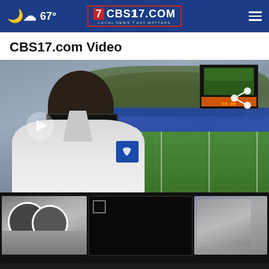67° CBS17.COM LOCAL NEWS THAT MATTERS
CBS17.com Video
[Figure (photo): Video thumbnail showing a football coach in a white jacket with a blue bird logo standing on a football field with a scoreboard in the background. A share icon is visible in the upper right of the image.]
[Figure (photo): Thumbnail of football players in white helmets and uniforms]
[Figure (photo): Dark/black video thumbnail with small square icon in upper left]
[Figure (photo): Partial thumbnail of a person, partially cut off on right edge]